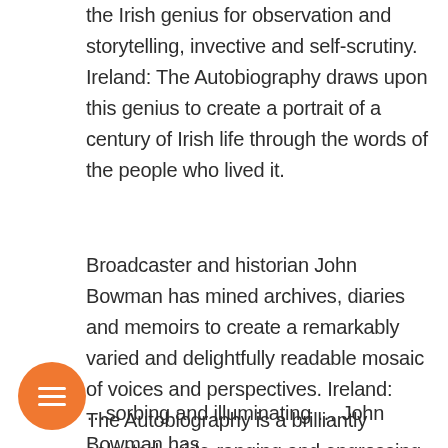the Irish genius for observation and storytelling, invective and self-scrutiny. Ireland: The Autobiography draws upon this genius to create a portrait of a century of Irish life through the words of the people who lived it.
Broadcaster and historian John Bowman has mined archives, diaries and memoirs to create a remarkably varied and delightfully readable mosaic of voices and perspectives. Ireland: The Autobiography is a brilliantly selected, wide-ranging and engrossing take on the last century of Irish life. It gives us a portrait of Ireland unlike anything we've read before.
…sorbing and illuminating … John Bowman has